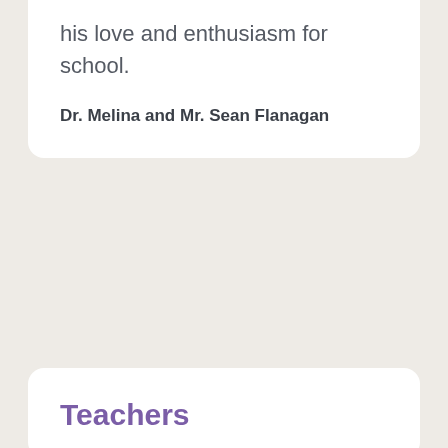his love and enthusiasm for school.
Dr. Melina and Mr. Sean Flanagan
Teachers
[Figure (illustration): Illustrated portrait of a woman with natural afro hair, hoop earrings, and brown skin, shown from shoulders up against a light lavender circular background]